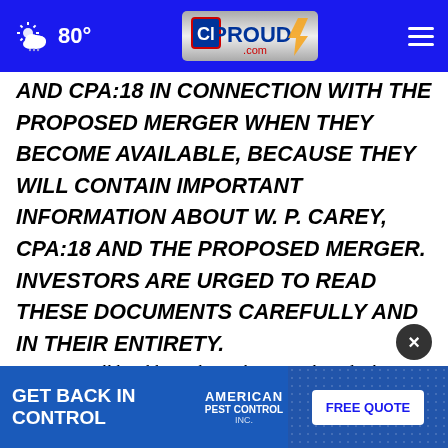[Figure (screenshot): CIProud.com website navigation bar with weather icon showing cloud and sun, temperature 80°, CIProud.com logo in center, and hamburger menu icon on right, all on blue background]
AND CPA:18 IN CONNECTION WITH THE PROPOSED MERGER WHEN THEY BECOME AVAILABLE, BECAUSE THEY WILL CONTAIN IMPORTANT INFORMATION ABOUT W. P. CAREY, CPA:18 AND THE PROPOSED MERGER. INVESTORS ARE URGED TO READ THESE DOCUMENTS CAREFULLY AND IN THEIR ENTIRETY.
Investors will be able to obtain these materials and other documents filed with the SEC free of charge at the SEC's website
[Figure (screenshot): Advertisement banner: GET BACK IN CONTROL - American Pest Control with FREE QUOTE button on blue background]